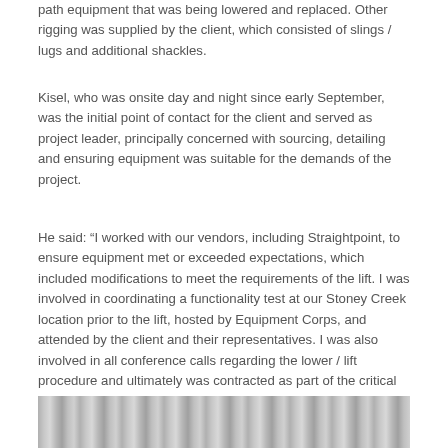path equipment that was being lowered and replaced. Other rigging was supplied by the client, which consisted of slings / lugs and additional shackles.
Kisel, who was onsite day and night since early September, was the initial point of contact for the client and served as project leader, principally concerned with sourcing, detailing and ensuring equipment was suitable for the demands of the project.
He said: “I worked with our vendors, including Straightpoint, to ensure equipment met or exceeded expectations, which included modifications to meet the requirements of the lift. I was involved in coordinating a functionality test at our Stoney Creek location prior to the lift, hosted by Equipment Corps, and attended by the client and their representatives. I was also involved in all conference calls regarding the lower / lift procedure and ultimately was contracted as part of the critical path team that executed the work.”
[Figure (photo): Partial view of ropes or rigging equipment, bottom of page]